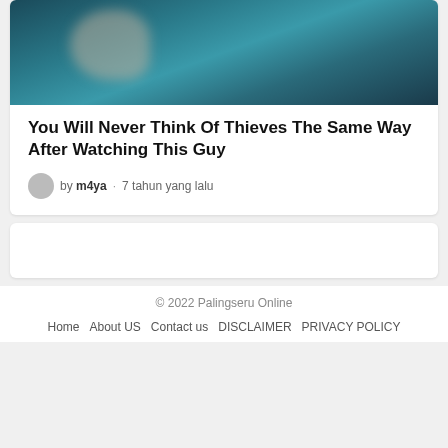[Figure (photo): Blurred photo of a person playing guitar, dark teal/blue background]
You Will Never Think Of Thieves The Same Way After Watching This Guy
by m4ya · 7 tahun yang lalu
[Figure (other): Advertisement placeholder box]
© 2022 Palingseru Online
Home   About US   Contact us   DISCLAIMER   PRIVACY POLICY